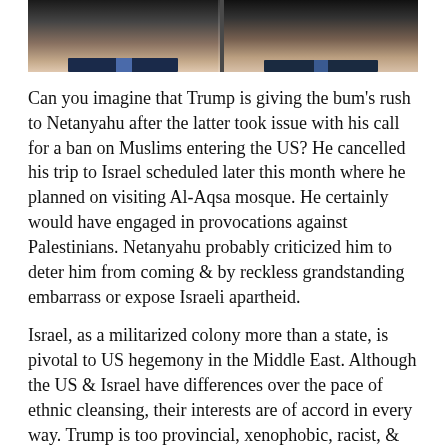[Figure (photo): Photo strip showing two figures (likely Trump and Netanyahu) from shoulders up, side by side against dark background]
Can you imagine that Trump is giving the bum's rush to Netanyahu after the latter took issue with his call for a ban on Muslims entering the US? He cancelled his trip to Israel scheduled later this month where he planned on visiting Al-Aqsa mosque. He certainly would have engaged in provocations against Palestinians. Netanyahu probably criticized him to deter him from coming & by reckless grandstanding embarrass or expose Israeli apartheid.
Israel, as a militarized colony more than a state, is pivotal to US hegemony in the Middle East. Although the US & Israel have differences over the pace of ethnic cleansing, their interests are of accord in every way. Trump is too provincial, xenophobic, racist, & stupid to grasp what is at stake in the relationship between Israel & the US. He knows he's supposed to pay fealty to Israel in some way but he doesn't get the politics of it.